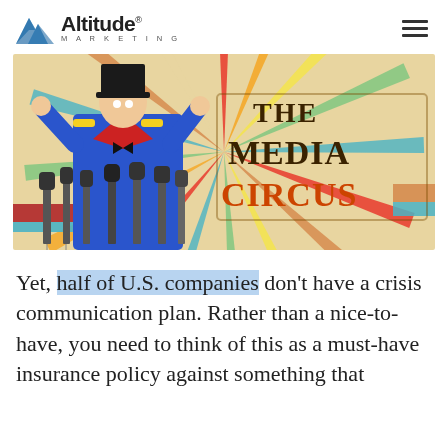Altitude Marketing
[Figure (illustration): A man dressed as a circus ringmaster in a blue and red coat and top hat, standing behind a row of press conference microphones, against a colorful sunburst background. Text reads 'THE MEDIA CIRCUS' in vintage circus typography.]
Yet, half of U.S. companies don't have a crisis communication plan. Rather than a nice-to-have, you need to think of this as a must-have insurance policy against something that